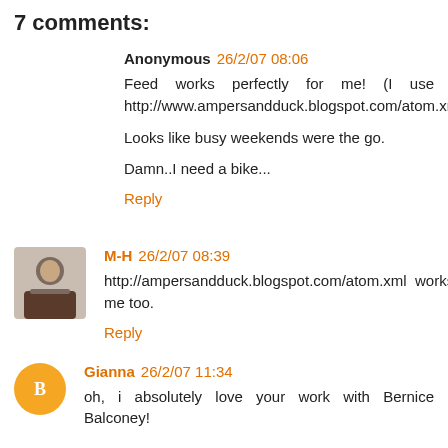7 comments:
Anonymous 26/2/07 08:06
Feed works perfectly for me! (I use http://www.ampersandduck.blogspot.com/atom.xml)
Looks like busy weekends were the go.
Damn..I need a bike...
Reply
M-H 26/2/07 08:39
http://ampersandduck.blogspot.com/atom.xml works for me too.
Reply
Gianna 26/2/07 11:34
oh, i absolutely love your work with Bernice Balconey!